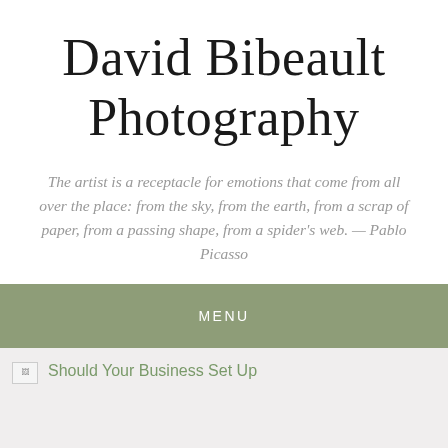David Bibeault Photography
The artist is a receptacle for emotions that come from all over the place: from the sky, from the earth, from a scrap of paper, from a passing shape, from a spider's web. — Pablo Picasso
MENU
Should Your Business Set Up